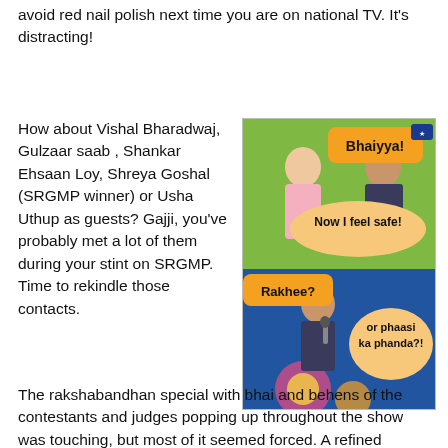avoid red nail polish next time you are on national TV. It's distracting!
How about Vishal Bharadwaj, Gulzaar saab , Shankar Ehsaan Loy, Shreya Goshal (SRGMP winner) or Usha Uthup as guests? Gajji, you've probably met a lot of them during your stint on SRGMP. Time to rekindle those contacts.
[Figure (photo): A meme/image from a TV show with speech bubbles saying 'Bhaiyya!', 'Now I feel safe!', 'Rakhee?' and 'or phaasi ka phanda?!']
The rakshabandhan special with bhai and behens of the contestants and judges popping up throughout the show was touching, but most of it seemed forced. A refined portrayal of the maa-baap, bhai-behen, dosti pyaar ke rishto is needed.